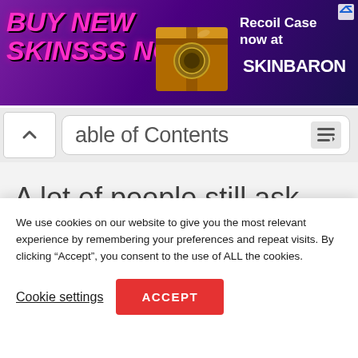[Figure (photo): Advertisement banner for SkinBaron featuring 'BUY NEW SKINSSS NOW' text in pink italic font on purple background, a gold loot crate image in the center, and 'Recoil Case now at SKINBARON' text on the right with SkinBaron logo.]
able of Contents
A lot of people still ask themselves whether it is the right thing to leave the washing machine lid and tumble
We use cookies on our website to give you the most relevant experience by remembering your preferences and repeat visits. By clicking “Accept”, you consent to the use of ALL the cookies.
Cookie settings
ACCEPT